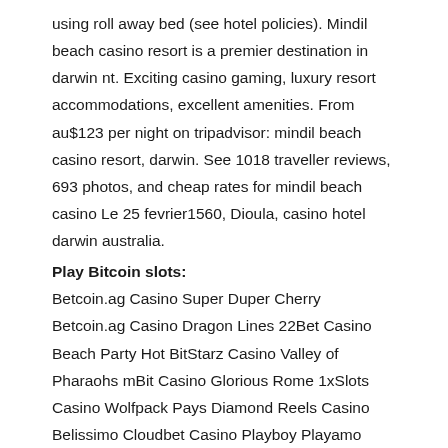using roll away bed (see hotel policies). Mindil beach casino resort is a premier destination in darwin nt. Exciting casino gaming, luxury resort accommodations, excellent amenities. From au$123 per night on tripadvisor: mindil beach casino resort, darwin. See 1018 traveller reviews, 693 photos, and cheap rates for mindil beach casino Le 25 fevrier1560, Dioula, casino hotel darwin australia.
Play Bitcoin slots:
Betcoin.ag Casino Super Duper Cherry Betcoin.ag Casino Dragon Lines 22Bet Casino Beach Party Hot BitStarz Casino Valley of Pharaohs mBit Casino Glorious Rome 1xSlots Casino Wolfpack Pays Diamond Reels Casino Belissimo Cloudbet Casino Playboy Playamo Casino Moonlight Mystery Oshi Casino Mexico Wins Mars Casino Take 5 Red Hot Firepot Sportsbet.io Hot Gems Bitcasino.io Jean Wealth Betchain Casino Lady of Fortune Cloudbet Casino